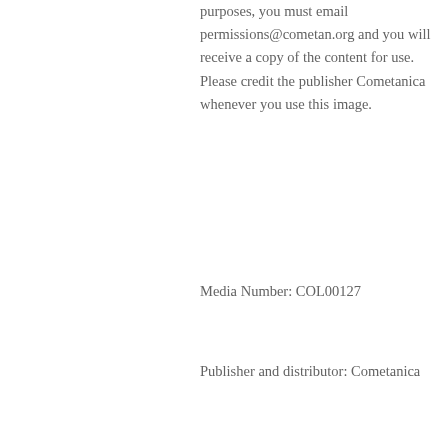purposes, you must email permissions@cometan.org and you will receive a copy of the content for use. Please credit the publisher Cometanica whenever you use this image.
Media Number: COL00127
Publisher and distributor: Cometanica
Copyright holder: Millettarian Photographic Institute
Usages and restrictions: please contact permissions@cometan.org stating the Image Number and the reason(s) for usage of the image. If deemed appropriate, you will then be provided with a copy of the image for you to use without featuring the Cometanica watermark. Don't not redistribute the image that is sent to you beyond the purposes that you have stated in your email to us. The rationale stated in